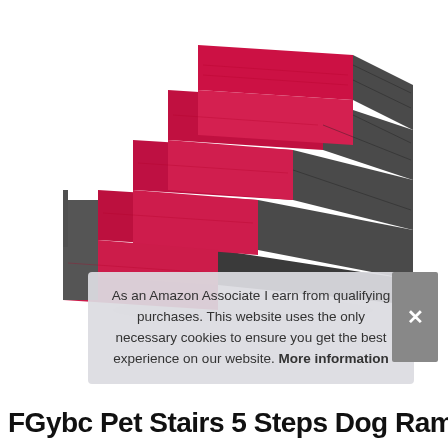[Figure (photo): Photo of a 5-step pet stair ramp with red/crimson velvet-like fabric on the steps and dark grey sides, photographed on a white background at an angle.]
As an Amazon Associate I earn from qualifying purchases. This website uses the only necessary cookies to ensure you get the best experience on our website. More information
FGybc Pet Stairs 5 Steps Dog Ramp